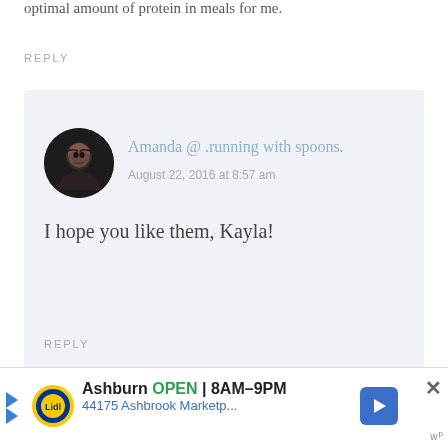optimal amount of protein in meals for me.
REPLY
Amanda @ .running with spoons.
August 22, 2016 at 8:57 am
I hope you like them, Kayla!
REPLY
[Figure (infographic): Advertisement banner for Lidl grocery store: Ashburn OPEN 8AM-9PM, 44175 Ashbrook Marketp...]